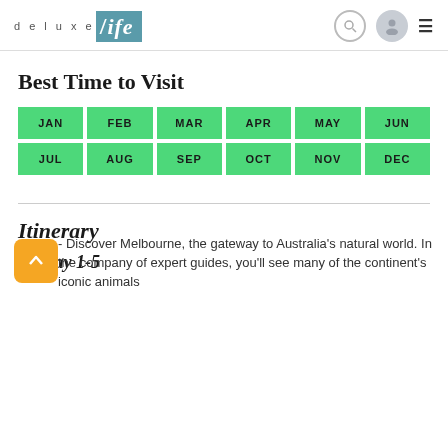deluxe Life
Best Time to Visit
| JAN | FEB | MAR | APR | MAY | JUN |
| --- | --- | --- | --- | --- | --- |
| JUL | AUG | SEP | OCT | NOV | DEC |
Itinerary
Day 1-5
- Discover Melbourne, the gateway to Australia's natural world. In the company of expert guides, you'll see many of the continent's iconic animals